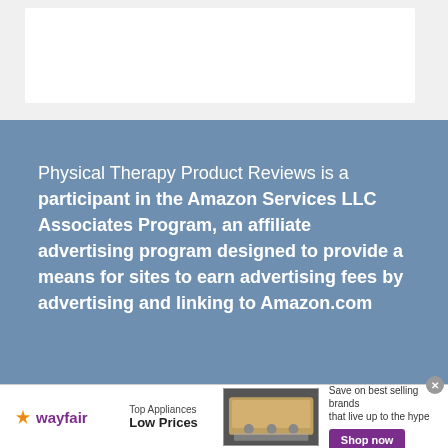[Figure (other): White content box on light grey background at top of page]
Physical Therapy Product Reviews is a participant in the Amazon Services LLC Associates Program, an affiliate advertising program designed to provide a means for sites to earn advertising fees by advertising and linking to Amazon.com
[Figure (other): Wayfair advertisement banner: Top Appliances Low Prices, Save on best selling brands that live up to the hype, Shop now button]